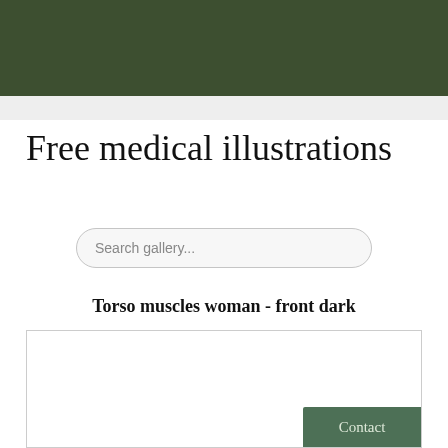Free medical illustrations
Search gallery...
Torso muscles woman - front dark
[Figure (illustration): Medical illustration box for Torso muscles woman - front dark, shown as a white bordered rectangle with a Contact button in the lower right corner]